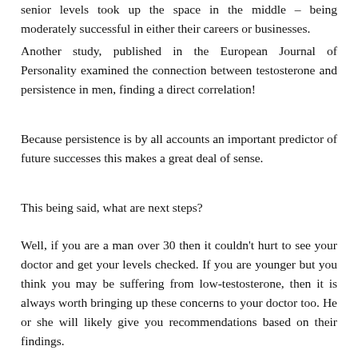senior levels took up the space in the middle – being moderately successful in either their careers or businesses.
Another study, published in the European Journal of Personality examined the connection between testosterone and persistence in men, finding a direct correlation!
Because persistence is by all accounts an important predictor of future successes this makes a great deal of sense.
This being said, what are next steps?
Well, if you are a man over 30 then it couldn't hurt to see your doctor and get your levels checked. If you are younger but you think you may be suffering from low-testosterone, then it is always worth bringing up these concerns to your doctor too. He or she will likely give you recommendations based on their findings.
It should be also noted that…